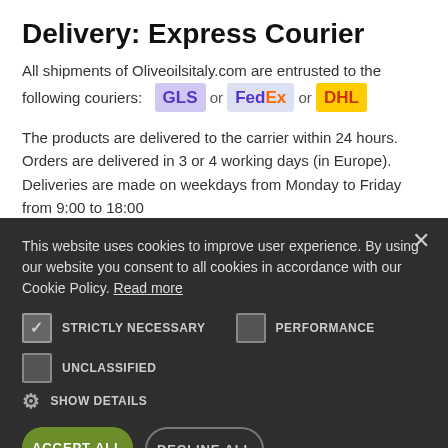Delivery: Express Courier
All shipments of Oliveoilsitaly.com are entrusted to the following couriers: GLS or FedEx or DHL
The products are delivered to the carrier within 24 hours. Orders are delivered in 3 or 4 working days (in Europe). Deliveries are made on weekdays from Monday to Friday from 9:00 to 18:00
This website uses cookies to improve user experience. By using our website you consent to all cookies in accordance with our Cookie Policy. Read more
STRICTLY NECESSARY (checked)
PERFORMANCE (unchecked)
UNCLASSIFIED (unchecked)
SHOW DETAILS
ACCEPT ALL
DECLINE ALL